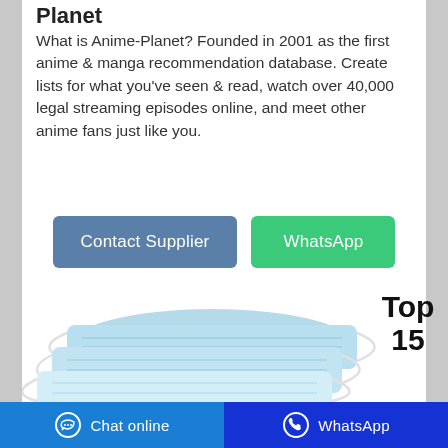Planet
What is Anime-Planet? Founded in 2001 as the first anime & manga recommendation database. Create lists for what you've seen & read, watch over 40,000 legal streaming episodes online, and meet other anime fans just like you.
[Figure (screenshot): Contact Supplier button (blue-grey) and WhatsApp button (green)]
Top 15
[Figure (photo): Three light blue disposable face masks stacked on white background]
Chat online   WhatsApp